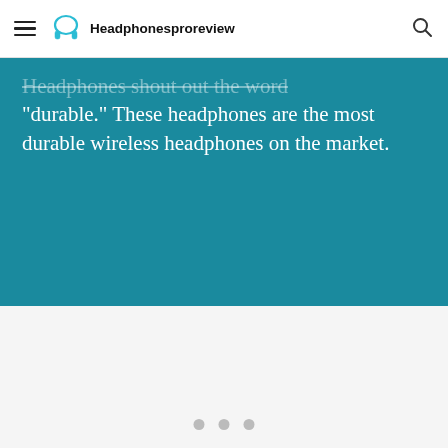Headphonesproreview
Headphones shout out the word “durable.” These headphones are the most durable wireless headphones on the market.
[Figure (other): Light gray content area with three gray dots indicating a carousel or loading indicator at the bottom]